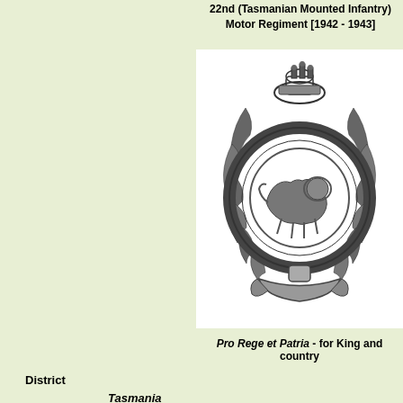22nd (Tasmanian Mounted Infantry) Motor Regiment [1942 - 1943]
[Figure (illustration): Military badge/crest showing a crowned circular wreath with a lion in the centre and a banner at the bottom, black and white engraving style]
Pro Rege et Patria - for King and country
District
Tasmania